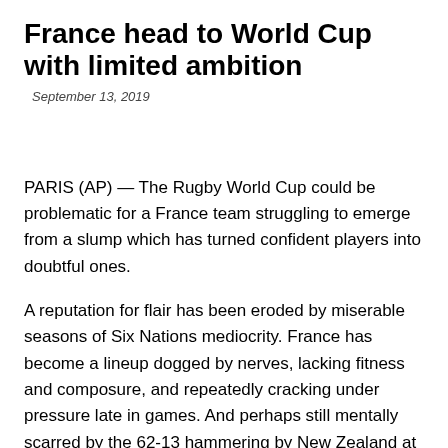France head to World Cup with limited ambition
September 13, 2019
PARIS (AP) — The Rugby World Cup could be problematic for a France team struggling to emerge from a slump which has turned confident players into doubtful ones.
A reputation for flair has been eroded by miserable seasons of Six Nations mediocrity. France has become a lineup dogged by nerves, lacking fitness and composure, and repeatedly cracking under pressure late in games. And perhaps still mentally scarred by the 62-13 hammering by New Zealand at the last World Cup.